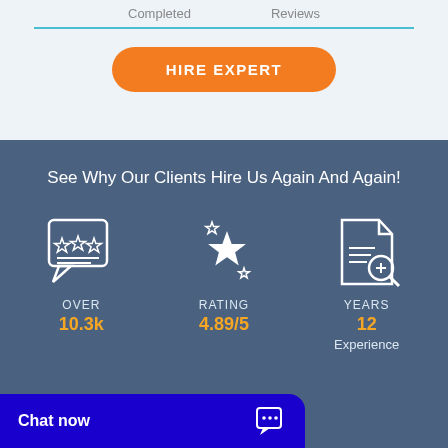Completed   Reviews
HIRE EXPERT
See Why Our Clients Hire Us Again And Again!
[Figure (illustration): Speech bubble icon with three stars and horizontal lines representing reviews]
OVER
10.3k
[Figure (illustration): Star rating icon with a large star and smaller stars]
RATING
4.89/5
[Figure (illustration): Document with magnifying glass icon]
YEARS
12
Experience
Chat now